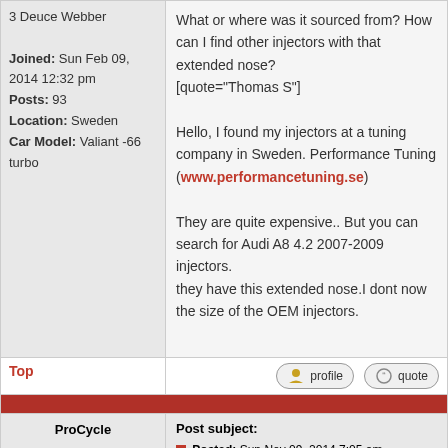3 Deuce Webber
Joined: Sun Feb 09, 2014 12:32 pm
Posts: 93
Location: Sweden
Car Model: Valiant -66 turbo
What or where was it sourced from? How can I find other injectors with that extended nose?
[quote="Thomas S"]
Hello, I found my injectors at a tuning company in Sweden. Performance Tuning (www.performancetuning.se)
They are quite expensive.. But you can search for Audi A8 4.2 2007-2009 injectors.
they have this extended nose.I dont now the size of the OEM injectors.
Top
profile
quote
ProCycle
Post subject:
Posted: Sun Nov 09, 2014 7:05 am
offline
Turbo Slant 6
Thanks.
I did some hunting and found that style of extended nose injectors are